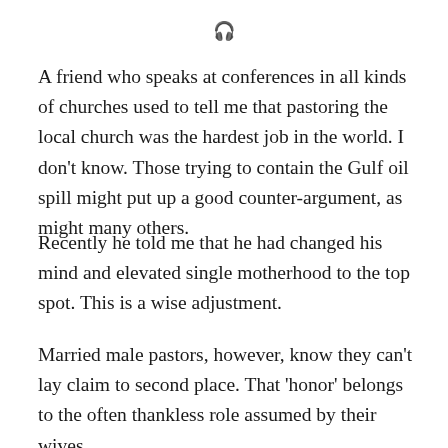🎧
A friend who speaks at conferences in all kinds of churches used to tell me that pastoring the local church was the hardest job in the world. I don't know. Those trying to contain the Gulf oil spill might put up a good counter-argument, as might many others.
Recently he told me that he had changed his mind and elevated single motherhood to the top spot. This is a wise adjustment.
Married male pastors, however, know they can't lay claim to second place. That 'honor' belongs to the often thankless role assumed by their wives.